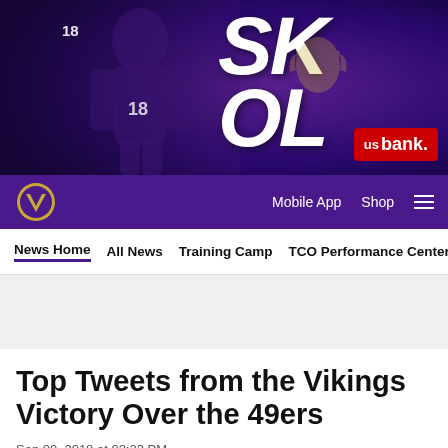[Figure (photo): Minnesota Vikings hero banner with player wearing #18 jersey, SKOL text, and US Bank logo on purple background]
Minnesota Vikings navigation bar with logo, Mobile App, Shop, and hamburger menu
Secondary navigation: News Home | All News | Training Camp | TCO Performance Center
[Figure (other): Gray advertisement placeholder area]
Top Tweets from the Vikings Victory Over the 49ers
Sep 09, 2018 at 03:23 PM
Social share icons: Facebook, Twitter, Email, Link